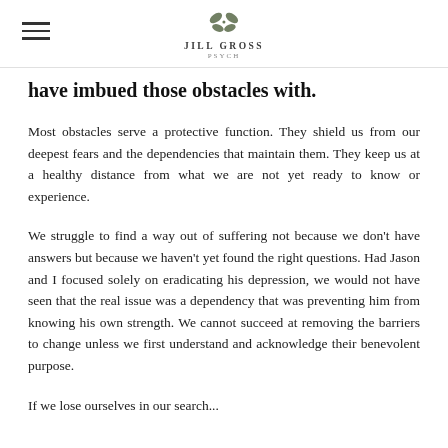Jill Gross Psych [logo and navigation header]
have imbued those obstacles with.
Most obstacles serve a protective function. They shield us from our deepest fears and the dependencies that maintain them. They keep us at a healthy distance from what we are not yet ready to know or experience.
We struggle to find a way out of suffering not because we don't have answers but because we haven't yet found the right questions. Had Jason and I focused solely on eradicating his depression, we would not have seen that the real issue was a dependency that was preventing him from knowing his own strength. We cannot succeed at removing the barriers to change unless we first understand and acknowledge their benevolent purpose.
If we lose ourselves in our search...